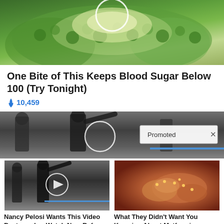[Figure (photo): Close-up photo of a bitter melon / bitter gourd cut in half showing green bumpy exterior and seeds]
One Bite of This Keeps Blood Sugar Below 100 (Try Tonight)
🔥 10,459
[Figure (photo): Photo of men in suits at an outdoor event, one with arm raised, circle overlay highlighting a person. Promoted badge in lower right.]
[Figure (photo): Thumbnail of men in suits at outdoor event with circle and play button overlay]
Nancy Pelosi Wants This Video Destroyed — Watch Now Before It's Banned
🔥 838,623
[Figure (photo): Close-up medical photo of internal organ tissue]
What They Didn't Want You Knowing About Metformin
🔥 207,379